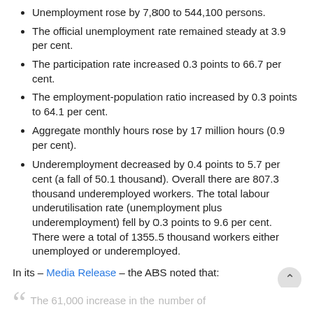Unemployment rose by 7,800 to 544,100 persons.
The official unemployment rate remained steady at 3.9 per cent.
The participation rate increased 0.3 points to 66.7 per cent.
The employment-population ratio increased by 0.3 points to 64.1 per cent.
Aggregate monthly hours rose by 17 million hours (0.9 per cent).
Underemployment decreased by 0.4 points to 5.7 per cent (a fall of 50.1 thousand). Overall there are 807.3 thousand underemployed workers. The total labour underutilisation rate (unemployment plus underemployment) fell by 0.3 points to 9.6 per cent. There were a total of 1355.5 thousand workers either unemployed or underemployed.
In its – Media Release – the ABS noted that:
The 61,000 increase in the number of